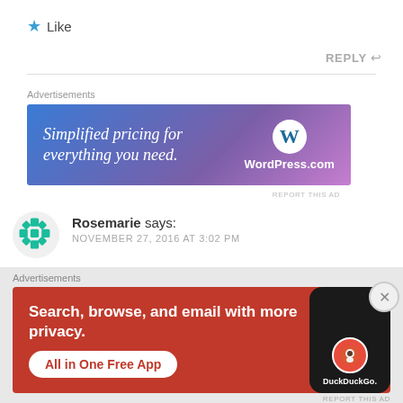Like
REPLY
[Figure (infographic): WordPress.com advertisement banner: 'Simplified pricing for everything you need.' with WordPress logo on a blue-to-purple gradient background]
REPORT THIS AD
Rosemarie says:
NOVEMBER 27, 2016 AT 3:02 PM
[Figure (infographic): DuckDuckGo advertisement: 'Search, browse, and email with more privacy. All in One Free App' on orange/red background with phone mockup showing DuckDuckGo logo]